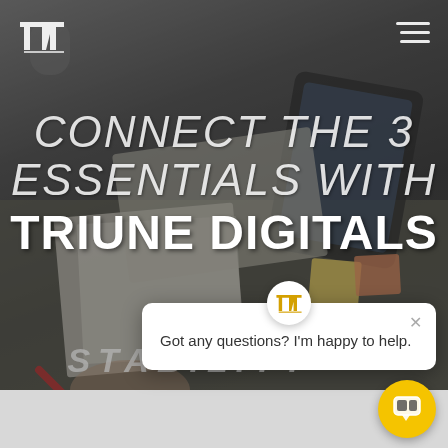[Figure (screenshot): Website screenshot for Triune Digitals with dark background photo of people working at a desk with papers and devices. Logo in top-left corner, hamburger menu top-right.]
CONNECT THE 3 ESSENTIALS WITH TRIUNE DIGITALS
STABILITY
[Figure (infographic): Chat popup widget with Triune Digitals logo icon at top center, close X button, and message 'Got any questions? I'm happy to help.' Yellow circular chat button in bottom-right corner.]
Got any questions? I'm happy to help.